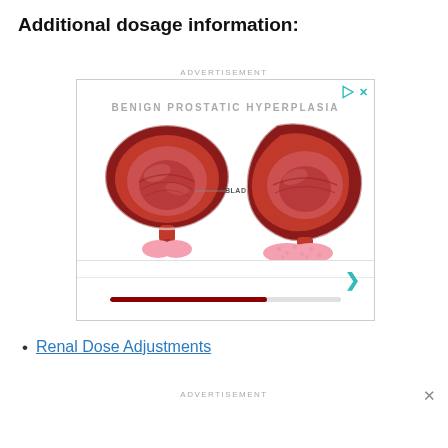Additional dosage information:
[Figure (illustration): Advertisement showing a medical illustration titled 'BENIGN PROSTATIC HYPERPLASIA' with two anatomical cross-section diagrams of a bladder and prostate, with a progress bar below and navigation chevron.]
Renal Dose Adjustments